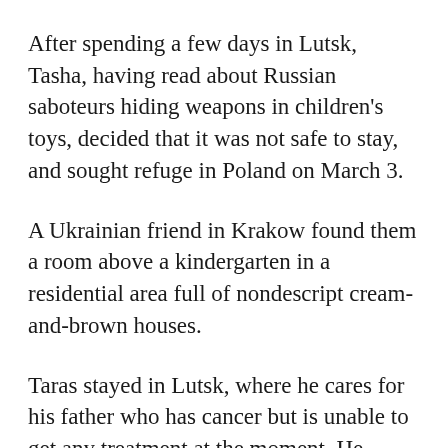After spending a few days in Lutsk, Tasha, having read about Russian saboteurs hiding weapons in children's toys, decided that it was not safe to stay, and sought refuge in Poland on March 3.
A Ukrainian friend in Krakow found them a room above a kindergarten in a residential area full of nondescript cream-and-brown houses.
Taras stayed in Lutsk, where he cares for his father who has cancer but is unable to get any treatment at the moment. He spends his days volunteering, delivering essentials to those who have taken up arms with Ukraine's